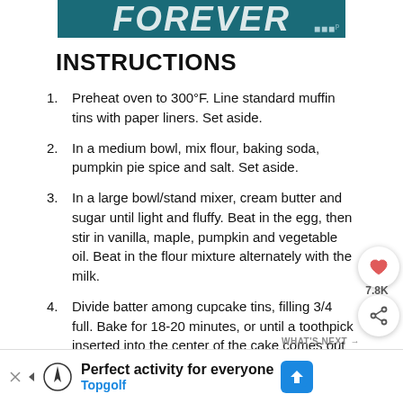[Figure (other): Banner image with teal/dark background showing partial text 'FOREVER' in large white italic bold letters with a logo mark at bottom right]
INSTRUCTIONS
Preheat oven to 300°F. Line standard muffin tins with paper liners. Set aside.
In a medium bowl, mix flour, baking soda, pumpkin pie spice and salt. Set aside.
In a large bowl/stand mixer, cream butter and sugar until light and fluffy. Beat in the egg, then stir in vanilla, maple, pumpkin and vegetable oil. Beat in the flour mixture alternately with the milk.
Divide batter among cupcake tins, filling 3/4 full. Bake for 18-20 minutes, or until a toothpick inserted into the center of the cake comes out clean. Cool cupcakes on wire rack.
[Figure (other): Advertisement banner at bottom: 'Perfect activity for everyone' with Topgolf logo and branding, and a navigation direction icon]
[Figure (other): What's Next overlay showing a circular pumpkin cake image thumbnail and text 'The Best Pumpkin Cake']